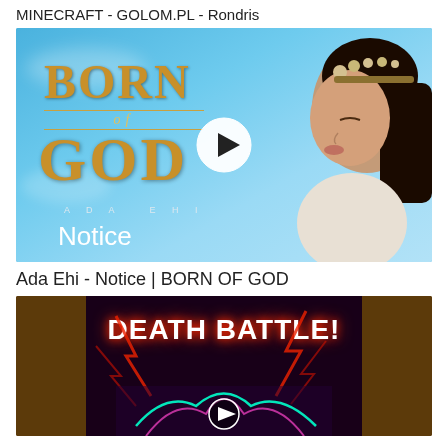MINECRAFT - GOLOM.PL - Rondris
[Figure (screenshot): Thumbnail for Ada Ehi - Notice | BORN OF GOD music video. Blue sky background with gold 'BORN of GOD' text on left, woman in profile with floral headpiece on right, white play button in center, 'Notice' text lower left.]
Ada Ehi - Notice | BORN OF GOD
[Figure (screenshot): Thumbnail for a Death Battle video. Brown background on sides, center dark area with 'DEATH BATTLE!' text in white with red lightning effects, colorful character art below with a play button overlay.]